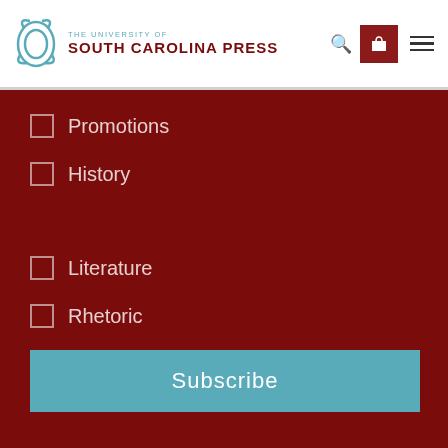THE UNIVERSITY OF SOUTH CAROLINA PRESS
Promotions
History
Literature
Rhetoric
Subscribe